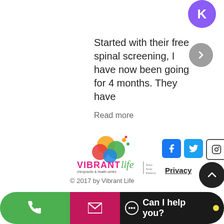[Figure (illustration): Purple circle avatar with letter K]
[Figure (illustration): Five gold star rating]
Started with their free spinal screening, I have now been going for 4 months. They have
Read more
[Figure (logo): Vibrant Life chiropractic & health centre logo with colourful circles and text]
[Figure (illustration): Social media icons row: Facebook, Twitter, Instagram, Email]
Privacy
© 2017 by Vibrant Life
[Figure (illustration): Bottom action bar with phone button (green), email button (pink), and Can I help you? chat button (dark)]